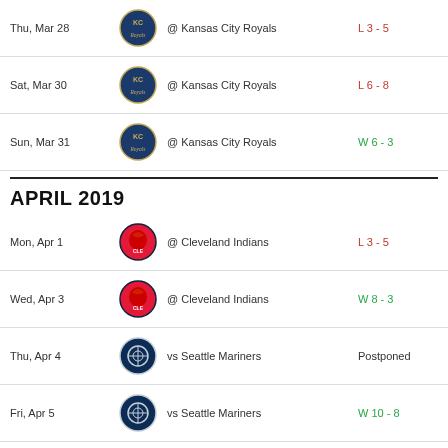| Date | Team | Opponent | Result |
| --- | --- | --- | --- |
| Thu, Mar 28 | Royals | @ Kansas City Royals | L 3 - 5 |
| Sat, Mar 30 | Royals | @ Kansas City Royals | L 6 - 8 |
| Sun, Mar 31 | Royals | @ Kansas City Royals | W 6 - 3 |
APRIL 2019
| Date | Team | Opponent | Result |
| --- | --- | --- | --- |
| Mon, Apr 1 | Cleveland Indians | @ Cleveland Indians | L 3 - 5 |
| Wed, Apr 3 | Cleveland Indians | @ Cleveland Indians | W 8 - 3 |
| Thu, Apr 4 | Seattle Mariners | vs Seattle Mariners | Postponed |
| Fri, Apr 5 | Seattle Mariners | vs Seattle Mariners | W 10 - 8 |
| Sat, Apr 6 | Seattle Mariners | vs Seattle Mariners | L 2 - 9 |
| Sun, Apr 7 | Seattle Mariners | vs Seattle Mariners | L 5 - 12 |
| Mon, Apr 8 | Tampa Bay Rays | vs Tampa Bay Rays | L 1 - 5 |